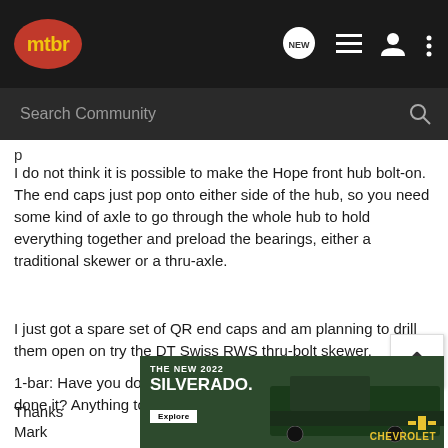mtbr
I do not think it is possible to make the Hope front hub bolt-on. The end caps just pop onto either side of the hub, so you need some kind of axle to go through the whole hub to hold everything together and preload the bearings, either a traditional skewer or a thru-axle.
I just got a spare set of QR end caps and am planning to drill them open on try the DT Swiss RWS thru-bolt skewer.
1-bar: Have you done this, or know someone who has done it? Anything to look out for?
Thanks
Mark
[Figure (photo): Chevrolet advertisement banner for The New 2022 Silverado with an Explore button and Chevrolet logo]